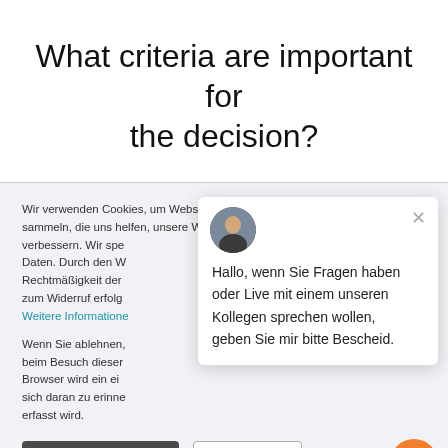What criteria are important for the decision?
Wir verwenden Cookies, um Webstatistiken zu sammeln, die uns helfen, unsere Website zu verbessern. Wir spe... Daten. Durch den W... Rechtmäßigkeit der ... zum Widerruf erfolg... Weitere Informationen
Wenn Sie ablehnen... beim Besuch dieser... Browser wird ein ei... sich daran zu erinne... erfasst wird.
[Figure (screenshot): Chat popup with avatar photo, close button (×), and message: Hallo, wenn Sie Fragen haben oder Live mit einem unseren Kollegen sprechen wollen, geben Sie mir bitte Bescheid.]
OK, verstanden.
Ablehnen